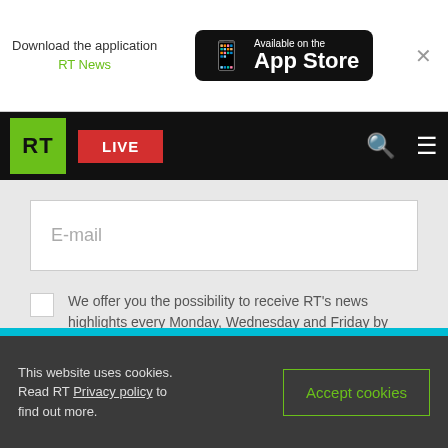[Figure (screenshot): App Store download banner with 'Download the application RT News' text and App Store button]
[Figure (screenshot): RT News navigation bar with green RT logo, red LIVE button, search icon, and menu icon]
E-mail
We offer you the possibility to receive RT's news highlights every Monday, Wednesday and Friday by email.
Subscribe
This website uses cookies. Read RT Privacy policy to find out more.
Accept cookies